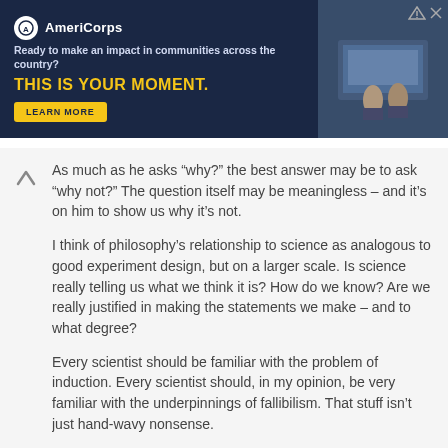[Figure (screenshot): AmeriCorps advertisement banner with dark navy background. Shows AmeriCorps logo, tagline 'Ready to make an impact in communities across the country?', headline 'THIS IS YOUR MOMENT.' in yellow, and a 'LEARN MORE' button. Right side shows a photo of students at computers.]
As much as he asks “why?” the best answer may be to ask “why not?” The question itself may be meaningless – and it’s on him to show us why it’s not.
I think of philosophy’s relationship to science as analogous to good experiment design, but on a larger scale. Is science really telling us what we think it is? How do we know? Are we really justified in making the statements we make – and to what degree?
Every scientist should be familiar with the problem of induction. Every scientist should, in my opinion, be very familiar with the underpinnings of fallibilism. That stuff isn’t just hand-wavy nonsense.
Log in to post comments